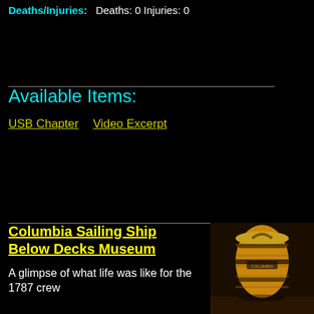Deaths/Injuries:    Deaths: 0    Injuries: 0
Available Items:
USB Chapter    Video Excerpt
Columbia Sailing Ship Below Decks Museum
A glimpse of what life was like for the 1787 crew
[Figure (photo): A wooden barrel or circular wooden container with metal bands, displayed on what appears to be a shelf or surface inside a museum exhibit.]